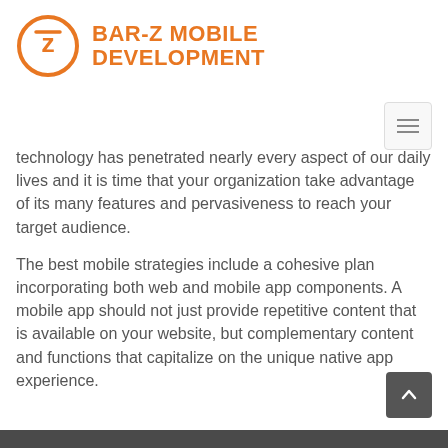BAR-Z MOBILE DEVELOPMENT
technology has penetrated nearly every aspect of our daily lives and it is time that your organization take advantage of its many features and pervasiveness to reach your target audience.
The best mobile strategies include a cohesive plan incorporating both web and mobile app components. A mobile app should not just provide repetitive content that is available on your website, but complementary content and functions that capitalize on the unique native app experience.